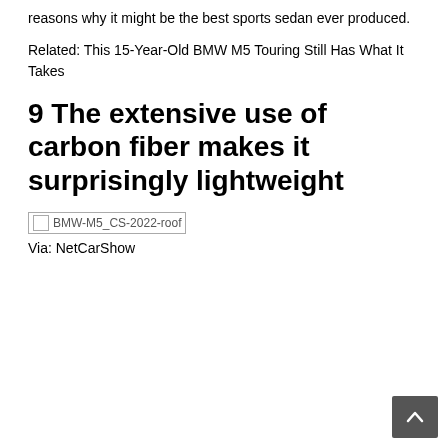reasons why it might be the best sports sedan ever produced.
Related: This 15-Year-Old BMW M5 Touring Still Has What It Takes
9 The extensive use of carbon fiber makes it surprisingly lightweight
[Figure (other): Broken image placeholder labeled BMW-M5_CS-2022-roof]
Via: NetCarShow